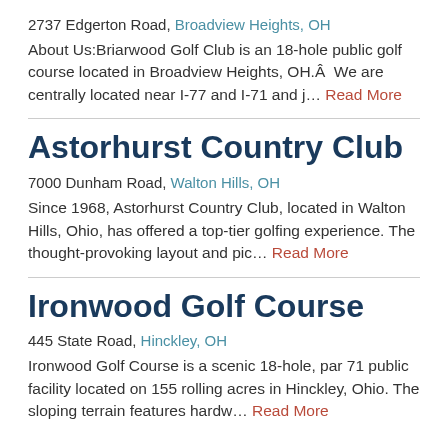2737 Edgerton Road, Broadview Heights, OH
About Us:Briarwood Golf Club is an 18-hole public golf course located in Broadview Heights, OH.Â  We are centrally located near I-77 and I-71 and j… Read More
Astorhurst Country Club
7000 Dunham Road, Walton Hills, OH
Since 1968, Astorhurst Country Club, located in Walton Hills, Ohio, has offered a top-tier golfing experience. The thought-provoking layout and pic… Read More
Ironwood Golf Course
445 State Road, Hinckley, OH
Ironwood Golf Course is a scenic 18-hole, par 71 public facility located on 155 rolling acres in Hinckley, Ohio. The sloping terrain features hardw… Read More